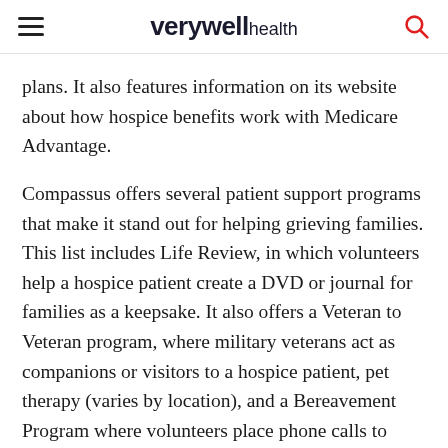verywell health
plans. It also features information on its website about how hospice benefits work with Medicare Advantage.
Compassus offers several patient support programs that make it stand out for helping grieving families. This list includes Life Review, in which volunteers help a hospice patient create a DVD or journal for families as a keepsake. It also offers a Veteran to Veteran program, where military veterans act as companions or visitors to a hospice patient, pet therapy (varies by location), and a Bereavement Program where volunteers place phone calls to friends or loved ones after the passing of a